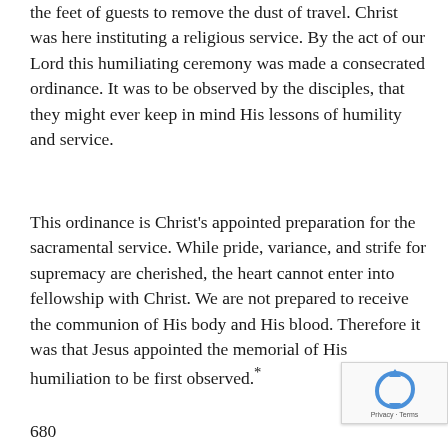the feet of guests to remove the dust of travel. Christ was here instituting a religious service. By the act of our Lord this humiliating ceremony was made a consecrated ordinance. It was to be observed by the disciples, that they might ever keep in mind His lessons of humility and service.
This ordinance is Christ's appointed preparation for the sacramental service. While pride, variance, and strife for supremacy are cherished, the heart cannot enter into fellowship with Christ. We are not prepared to receive the communion of His body and His blood. Therefore it was that Jesus appointed the memorial of His humiliation to be first observed.*
680